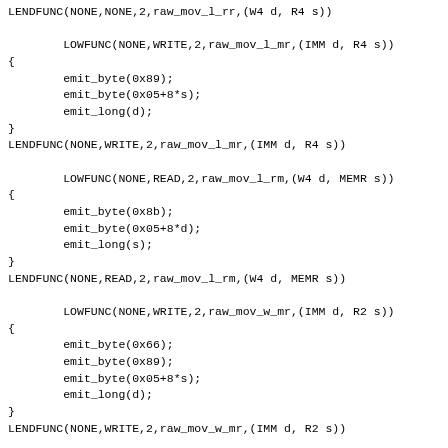LENDFUNC(NONE,NONE,2,raw_mov_l_rr,(W4 d, R4 s))

        LOWFUNC(NONE,WRITE,2,raw_mov_l_mr,(IMM d, R4 s))
{
        emit_byte(0x89);
        emit_byte(0x05+8*s);
        emit_long(d);
}
LENDFUNC(NONE,WRITE,2,raw_mov_l_mr,(IMM d, R4 s))

        LOWFUNC(NONE,READ,2,raw_mov_l_rm,(W4 d, MEMR s))
{
        emit_byte(0x8b);
        emit_byte(0x05+8*d);
        emit_long(s);
}
LENDFUNC(NONE,READ,2,raw_mov_l_rm,(W4 d, MEMR s))

        LOWFUNC(NONE,WRITE,2,raw_mov_w_mr,(IMM d, R2 s))
{
        emit_byte(0x66);
        emit_byte(0x89);
        emit_byte(0x05+8*s);
        emit_long(d);
}
LENDFUNC(NONE,WRITE,2,raw_mov_w_mr,(IMM d, R2 s))

        LOWFUNC(NONE,READ,2,raw_mov_w_rm,(W2 d, IMM s))
{
        emit_byte(0x66);